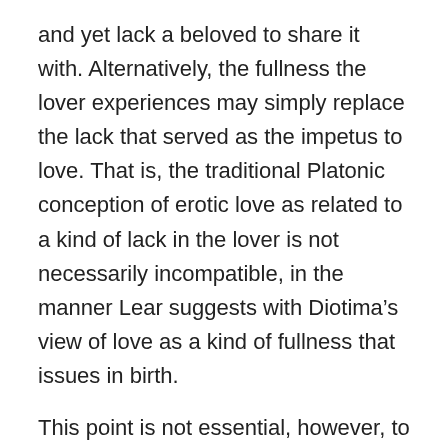and yet lack a beloved to share it with. Alternatively, the fullness the lover experiences may simply replace the lack that served as the impetus to love. That is, the traditional Platonic conception of erotic love as related to a kind of lack in the lover is not necessarily incompatible, in the manner Lear suggests with Diotima’s view of love as a kind of fullness that issues in birth.
This point is not essential, however, to Lear’s thesis. His thesis is actually that human life has a “characteristic activity.” This activity, he explains is “pregnancy and giving birth in the beautiful. That is, it is the activity in the course of erotic the